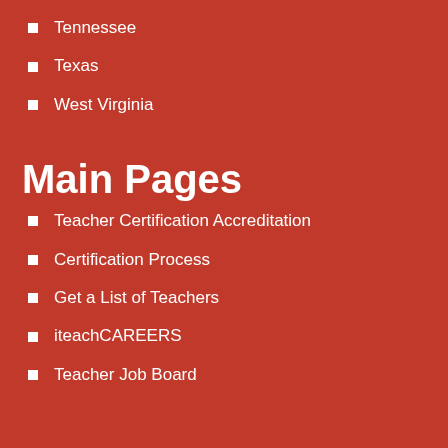Tennessee
Texas
West Virginia
Main Pages
Teacher Certification Accreditation
Certification Process
Get a List of Teachers
iteachCAREERS
Teacher Job Board